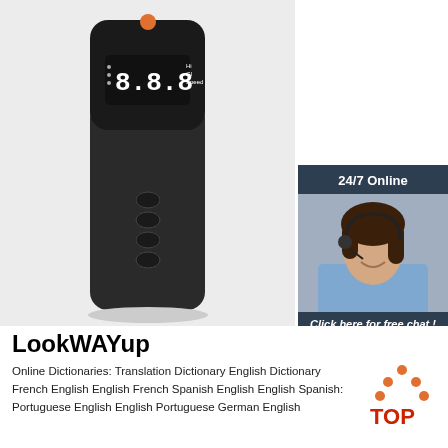[Figure (photo): Black portable electronic device with digital display and buttons on front]
[Figure (photo): Customer service chat widget showing woman with headset, '24/7 Online', 'Click here for free chat!', and orange QUOTATION button]
LookWAYup
Online Dictionaries: Translation Dictionary English Dictionary French English English French Spanish English English Spanish: Portuguese English English Portuguese German English
[Figure (logo): Top logo with orange dots arranged in house/triangle shape and red TOP text]